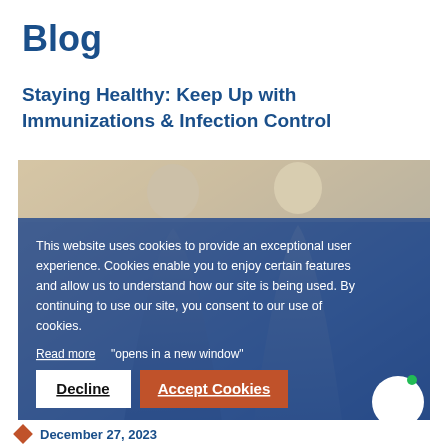Blog
Staying Healthy: Keep Up with Immunizations & Infection Control
[Figure (photo): Photo of two people (medical/healthcare context), partially obscured by a cookie consent overlay. A white chat bubble with green dot is in the bottom right corner.]
This website uses cookies to provide an exceptional user experience. Cookies enable you to enjoy certain features and allow us to understand how our site is being used. By continuing to use our site, you consent to our use of cookies.
Read more "opens in a new window"
Decline   Accept Cookies
December 27, 2023